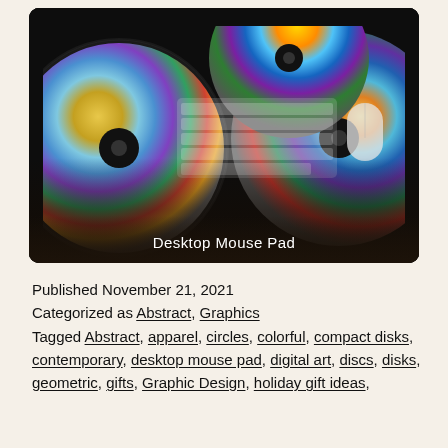[Figure (photo): Product photo of a desktop mouse pad featuring colorful compact discs (CDs) design, with a keyboard and mouse shown on the pad surface. The image has a dark border/background with gradient overlay showing the product label 'Desktop Mouse Pad' in white text.]
Published November 21, 2021
Categorized as Abstract, Graphics
Tagged Abstract, apparel, circles, colorful, compact disks, contemporary, desktop mouse pad, digital art, discs, disks, geometric, gifts, Graphic Design, holiday gift ideas,